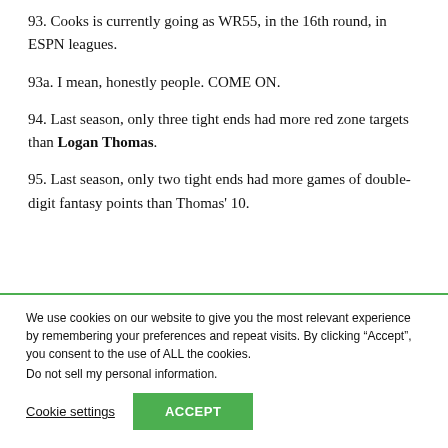93. Cooks is currently going as WR55, in the 16th round, in ESPN leagues.
93a. I mean, honestly people. COME ON.
94. Last season, only three tight ends had more red zone targets than Logan Thomas.
95. Last season, only two tight ends had more games of double-digit fantasy points than Thomas' 10.
We use cookies on our website to give you the most relevant experience by remembering your preferences and repeat visits. By clicking “Accept”, you consent to the use of ALL the cookies.
Do not sell my personal information.
Cookie settings
ACCEPT